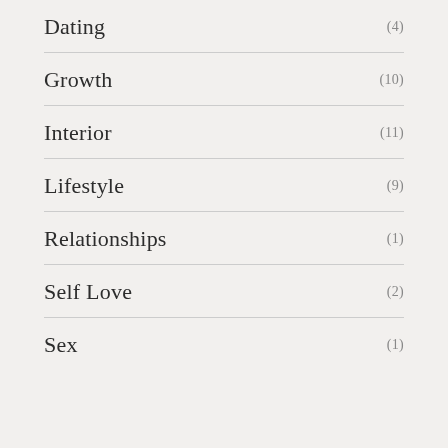Dating (4)
Growth (10)
Interior (11)
Lifestyle (9)
Relationships (1)
Self Love (2)
Sex (1)